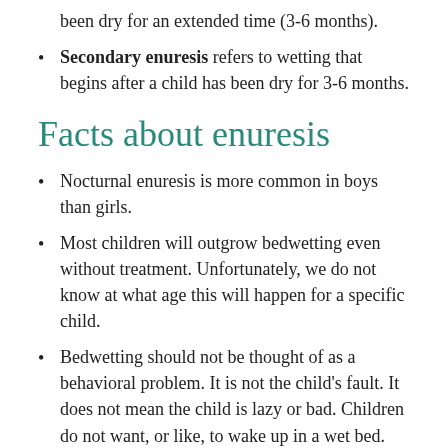been dry for an extended time (3-6 months).
Secondary enuresis refers to wetting that begins after a child has been dry for 3-6 months.
Facts about enuresis
Nocturnal enuresis is more common in boys than girls.
Most children will outgrow bedwetting even without treatment. Unfortunately, we do not know at what age this will happen for a specific child.
Bedwetting should not be thought of as a behavioral problem. It is not the child's fault. It does not mean the child is lazy or bad. Children do not want, or like, to wake up in a wet bed.
Bedwetting can cause stress in the family and